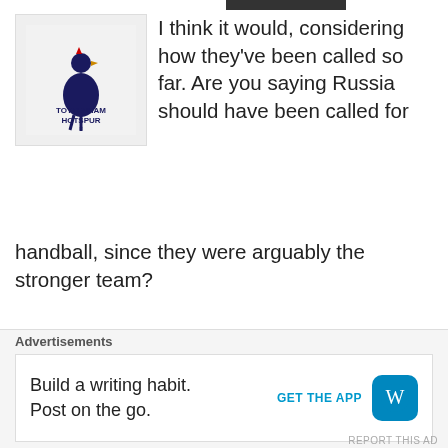[Figure (logo): Tottenham Hotspur crest logo on white/grey background]
I think it would, considering how they've been called so far. Are you saying Russia should have been called for handball, since they were arguably the stronger team?
★ Like
Reply
Phil   June 18, 2014 9:47 pm
No, I should probably
Advertisements
Build a writing habit. Post on the go.
GET THE APP